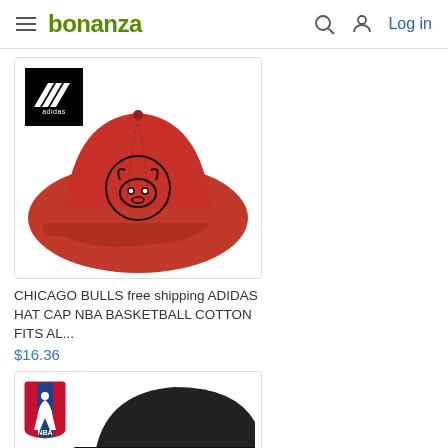bonanza — Log in
[Figure (photo): Red Chicago Bulls Adidas baseball cap with Chicago Bulls logo embroidered on front, with Adidas logo badge in top-left corner of image]
CHICAGO BULLS free shipping ADIDAS HAT CAP NBA BASKETBALL COTTON FITS AL...
$16.36
[Figure (photo): Partial view of a second product card showing NBA logo and a black cap, cut off at bottom of page]